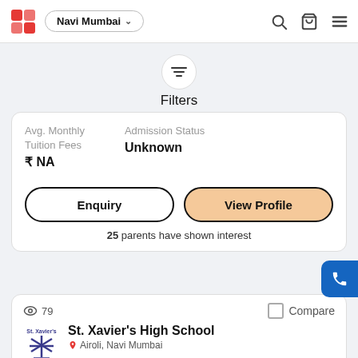Navi Mumbai
Filters
Avg. Monthly Tuition Fees
₹ NA
Admission Status
Unknown
Enquiry
View Profile
25 parents have shown interest
79
Compare
St. Xavier's High School
Airoli, Navi Mumbai